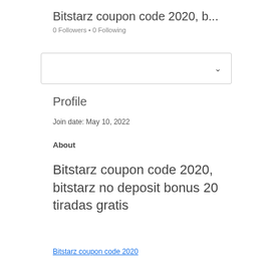Bitstarz coupon code 2020, b...
0 Followers • 0 Following
[Figure (other): Dropdown/select box with chevron arrow]
Profile
Join date: May 10, 2022
About
Bitstarz coupon code 2020, bitstarz no deposit bonus 20 tiradas gratis
Bitstarz coupon code 2020